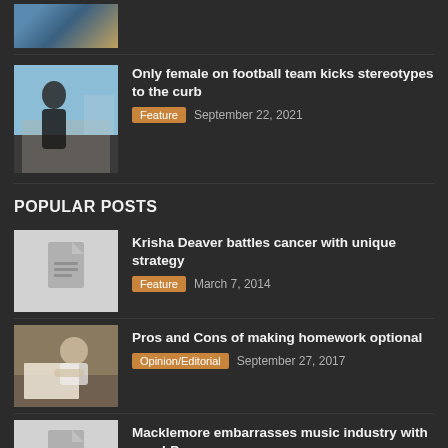[Figure (photo): Partially visible image at top of page - cropped article thumbnail]
Only female on football team kicks stereotypes to the curb — Feature, September 22, 2021
POPULAR POSTS
Krisha Deaver battles cancer with unique strategy — Feature, March 7, 2014
Pros and Cons of making homework optional — Opinion/Editorial, September 27, 2017
Macklemore embarrasses music industry with new LP — Culture, October 16, 2012